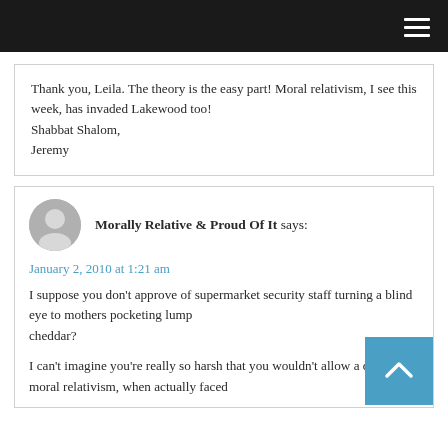[Navigation bar - dark]
Thank you, Leila. The theory is the easy part! Moral relativism, I see this week, has invaded Lakewood too!
Shabbat Shalom,
Jeremy
Morally Relative & Proud Of It says:
January 2, 2010 at 1:21 am
I suppose you don't approve of supermarket security staff turning a blind eye to mothers pocketing lump cheddar?
I can't imagine you're really so harsh that you wouldn't allow a degree of moral relativism, when actually faced